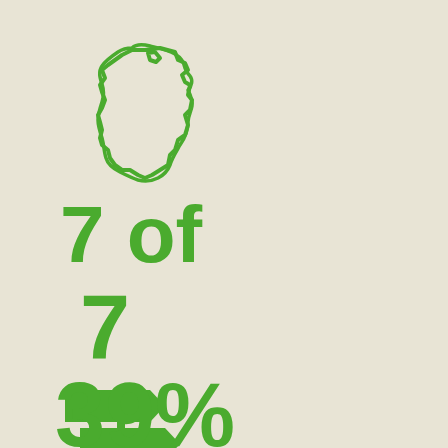[Figure (illustration): Outline of Wisconsin state map in green]
7 of
7
[Figure (illustration): Green signpost / directional signs icon]
39%